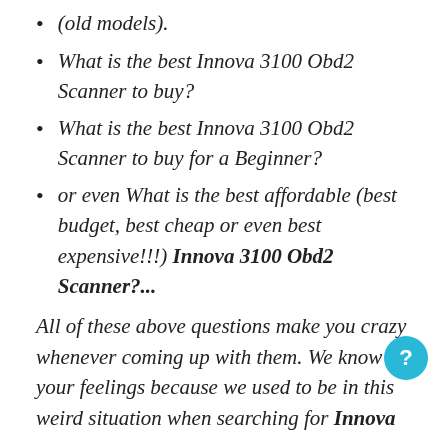(old models).
What is the best Innova 3100 Obd2 Scanner to buy?
What is the best Innova 3100 Obd2 Scanner to buy for a Beginner?
or even What is the best affordable (best budget, best cheap or even best expensive!!!) Innova 3100 Obd2 Scanner?...
All of these above questions make you crazy whenever coming up with them. We know your feelings because we used to be in this weird situation when searching for Innova